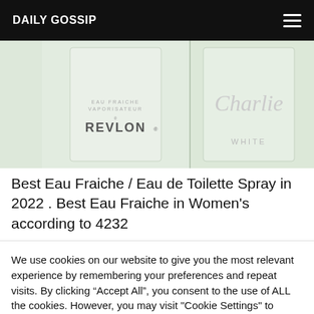DAILY GOSSIP
[Figure (photo): Two fragrance bottles side by side: left shows a Revlon Eau Fraiche Vaporisateur bottle, right shows a Charlie White bottle, both with light green/clear glass packaging.]
Best Eau Fraiche / Eau de Toilette Spray in 2022 . Best Eau Fraiche in Women’s according to 4232
We use cookies on our website to give you the most relevant experience by remembering your preferences and repeat visits. By clicking “Accept All”, you consent to the use of ALL the cookies. However, you may visit "Cookie Settings" to provide a controlled consent.